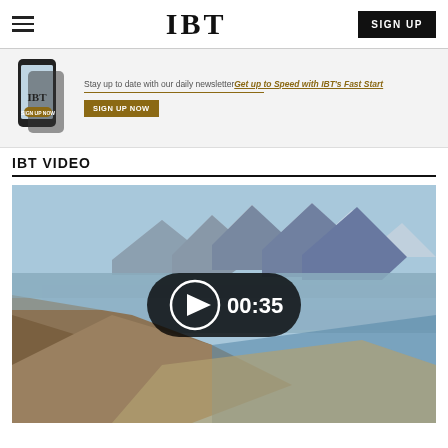IBT
[Figure (screenshot): Newsletter signup banner with IBT phone mockup, 'Stay up to date with our daily newsletter', 'Get up to Speed with IBT's Fast Start' link, and 'SIGN UP NOW' button]
IBT VIDEO
[Figure (screenshot): Video thumbnail showing aerial landscape view of lake and mountains with a play button overlay showing 00:35 duration]